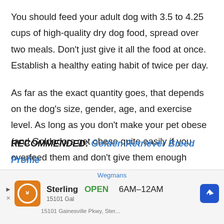You should feed your adult dog with 3.5 to 4.25 cups of high-quality dry dog food, spread over two meals. Don't just give it all the food at once. Establish a healthy eating habit of twice per day.
As far as the exact quantity goes, that depends on the dog's size, gender, age, and exercise level. As long as you don't make your pet obese (and Goldadors get obese quite easily if you overfeed them and don't give them enough exercise) and don't keep him hungry, your dog will be happy.
RECOMMENDED: Golden Retriever Breed Profile
[Figure (other): Advertisement banner for Wegmans grocery store in Sterling, showing store logo, open hours 6AM-12AM, and a navigation/directions button.]